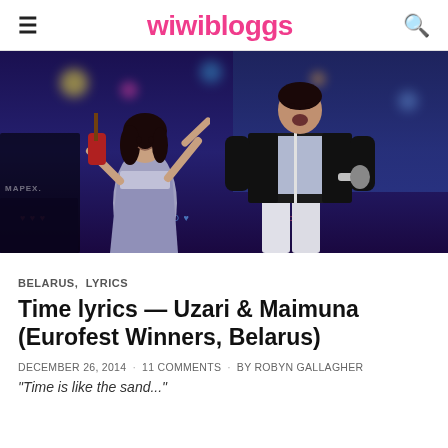wiwibloggs
[Figure (photo): Stage performance photo of Uzari and Maimuna at Eurofest. Maimuna plays a red violin wearing a silver/purple metallic dress, while Uzari sings into a microphone wearing a black jacket with a sparkly shirt and white pants. Eurovision logo hearts visible in background. Mapex drum kit on left.]
BELARUS, LYRICS
Time lyrics — Uzari & Maimuna (Eurofest Winners, Belarus)
DECEMBER 26, 2014 · 11 COMMENTS · BY ROBYN GALLAGHER
"Time is like the sand..."